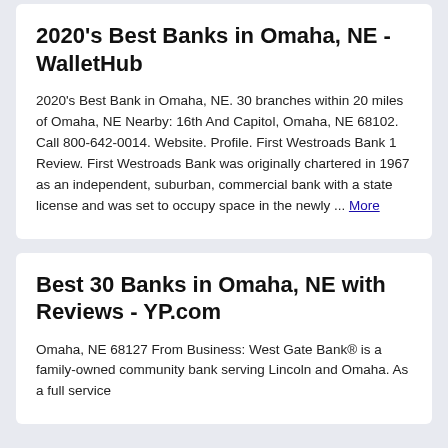2020's Best Banks in Omaha, NE - WalletHub
2020's Best Bank in Omaha, NE. 30 branches within 20 miles of Omaha, NE Nearby: 16th And Capitol, Omaha, NE 68102. Call 800-642-0014. Website. Profile. First Westroads Bank 1 Review. First Westroads Bank was originally chartered in 1967 as an independent, suburban, commercial bank with a state license and was set to occupy space in the newly ... More
Best 30 Banks in Omaha, NE with Reviews - YP.com
Omaha, NE 68127 From Business: West Gate Bank® is a family-owned community bank serving Lincoln and Omaha. As a full service...